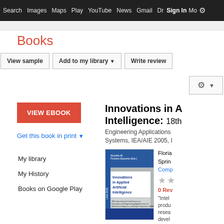Search  Images  Maps  Play  YouTube  News  Gmail  Drive  More  Sign In  ⚙
Books
View sample  |  Add to my library ▼  |  Write review
[Figure (screenshot): Gear/settings button with dropdown arrow]
VIEW EBOOK
Get this book in print ▼
My library
My History
Books on Google Play
Innovations in Applied Artificial Intelligence: 18th International Conference on Industrial and Engineering Applications of Artificial Intelligence and Expert Systems, IEA/AIE 2005, ...
[Figure (photo): Book cover: Innovations in Applied Artificial Intelligence, blue and grey cover, LNAI 3533]
Floriana Esposito
Springer,
Computers
★★
0 Reviews
"Intelligence" ... productivity ... research ... development ...